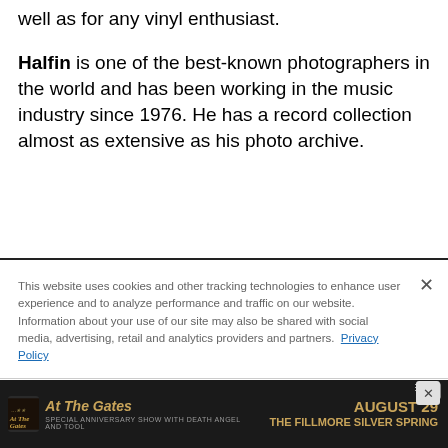well as for any vinyl enthusiast.
Halfin is one of the best-known photographers in the world and has been working in the music industry since 1976. He has a record collection almost as extensive as his photo archive.
This website uses cookies and other tracking technologies to enhance user experience and to analyze performance and traffic on our website. Information about your use of our site may also be shared with social media, advertising, retail and analytics providers and partners. Privacy Policy
[Figure (screenshot): At The Gates concert advertisement banner: 'At The Gates - AUGUST 29 - THE FILLMORE SILVER SPRING' on dark background]